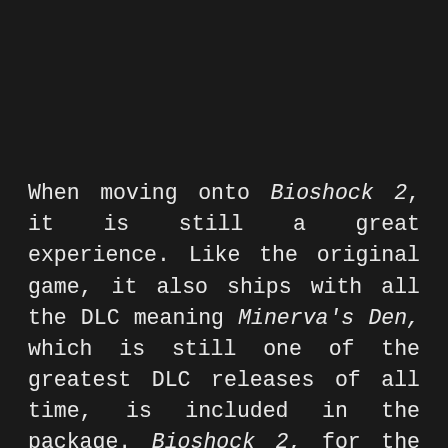When moving onto Bioshock 2, it is still a great experience. Like the original game, it also ships with all the DLC meaning Minerva's Den, which is still one of the greatest DLC releases of all time, is included in the package. Bioshock 2, for the most part was a step down visually compared to the first game. The engine was downgraded for some reason which meant the game suffered from some graphical hiccups. My biggest issue was the last of water reflections. This is definitely noticeable when moving from the first game directly to the second. Other than